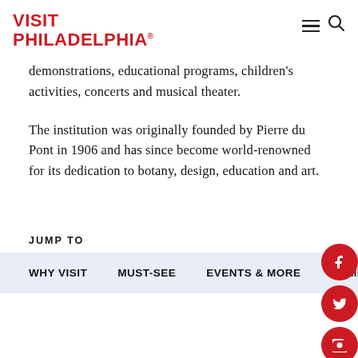VISIT PHILADELPHIA®
demonstrations, educational programs, children's activities, concerts and musical theater.
The institution was originally founded by Pierre du Pont in 1906 and has since become world-renowned for its dedication to botany, design, education and art.
JUMP TO
WHY VISIT
MUST-SEE
EVENTS & MORE
ADMISS